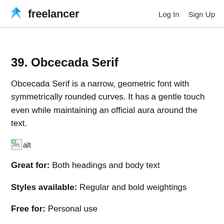freelancer   Log In   Sign Up
39. Obcecada Serif
Obcecada Serif is a narrow, geometric font with symmetrically rounded curves. It has a gentle touch even while maintaining an official aura around the text.
[Figure (other): Broken image placeholder with alt text]
Great for: Both headings and body text
Styles available: Regular and bold weightings
Free for: Personal use